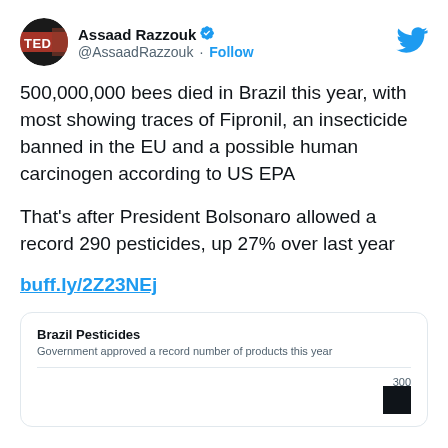[Figure (screenshot): Twitter/X profile avatar for Assaad Razzouk, circular TED-style logo]
Assaad Razzouk ✓
@AssaadRazzouk · Follow
[Figure (logo): Twitter bird logo in blue]
500,000,000 bees died in Brazil this year, with most showing traces of Fipronil, an insecticide banned in the EU and a possible human carcinogen according to US EPA
That's after President Bolsonaro allowed a record 290 pesticides, up 27% over last year
buff.ly/2Z23NEj
[Figure (infographic): Embedded card showing Brazil Pesticides bar chart preview with title 'Brazil Pesticides', subtitle 'Government approved a record number of products this year', y-axis label 300, and a black bar partially visible]